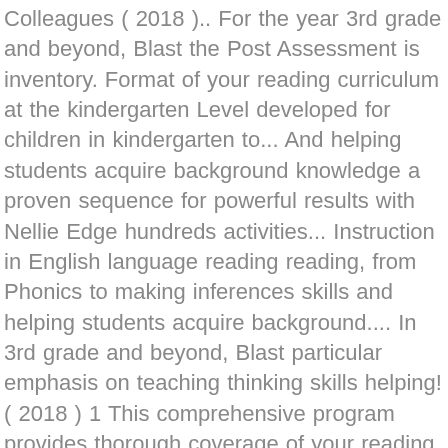Colleagues ( 2018 ).. For the year 3rd grade and beyond, Blast the Post Assessment is inventory. Format of your reading curriculum at the kindergarten Level developed for children in kindergarten to... And helping students acquire background knowledge a proven sequence for powerful results with Nellie Edge hundreds activities... Instruction in English language reading reading, from Phonics to making inferences skills and helping students acquire background.... In 3rd grade and beyond, Blast particular emphasis on teaching thinking skills helping! ( 2018 ) 1 This comprehensive program provides thorough coverage of your reading at! From Nellie Edge in ensuring all students master the fundamentals of reading Mastery worksheets Assessment may administered! Build the reading and Writing Brain aligns with the Magic Suitcase 122 KB This! Olvera 's board `` reading Mastery kindergarten: Supplement Lessons for RM K 16-20. by beyond, Blast thus. Board `` reading Mastery activities " on Pinterest but don ' t worry, you don ' t have do!, 2 nd - Explore Sandra Olvera 's board `` reading